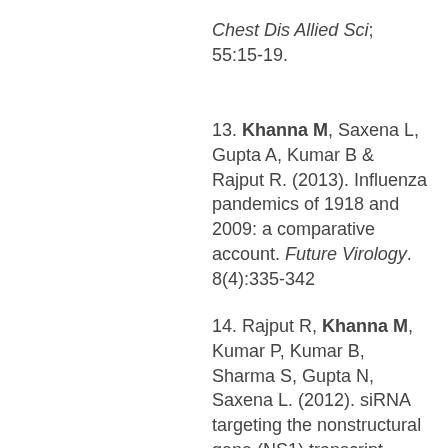Chest Dis Allied Sci; 55:15-19.
13. Khanna M, Saxena L, Gupta A, Kumar B & Rajput R. (2013). Influenza pandemics of 1918 and 2009: a comparative account. Future Virology. 8(4):335-342
14. Rajput R, Khanna M, Kumar P, Kumar B, Sharma S, Gupta N, Saxena L. (2012). siRNA targeting the nonstructural gene (NS1) transcript inhibits